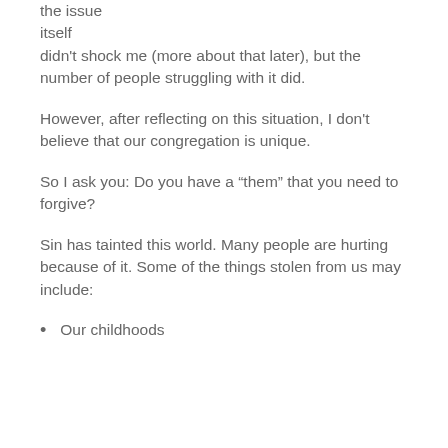the issue itself didn't shock me (more about that later), but the number of people struggling with it did.
However, after reflecting on this situation, I don't believe that our congregation is unique.
So I ask you: Do you have a “them” that you need to forgive?
Sin has tainted this world. Many people are hurting because of it. Some of the things stolen from us may include:
Our childhoods